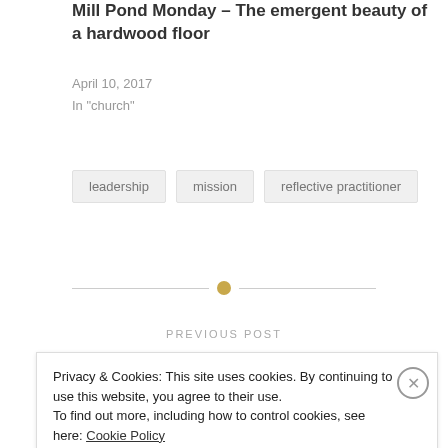Mill Pond Monday – The emergent beauty of a hardwood floor
April 10, 2017
In "church"
leadership
mission
reflective practitioner
PREVIOUS POST
Privacy & Cookies: This site uses cookies. By continuing to use this website, you agree to their use.
To find out more, including how to control cookies, see here: Cookie Policy
Close and accept